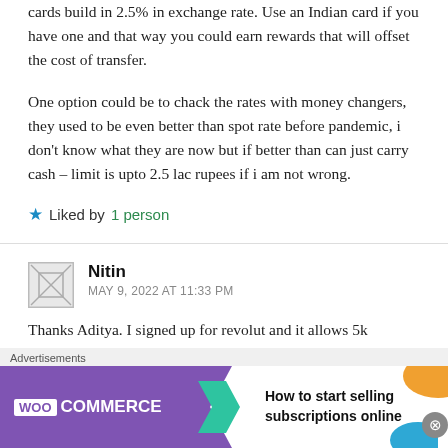cards build in 2.5% in exchange rate. Use an Indian card if you have one and that way you could earn rewards that will offset the cost of transfer.
One option could be to chack the rates with money changers, they used to be even better than spot rate before pandemic, i don't know what they are now but if better than can just carry cash – limit is upto 2.5 lac rupees if i am not wrong.
★ Liked by 1 person
Nitin
MAY 9, 2022 AT 11:33 PM
Thanks Aditya. I signed up for revolut and it allows 5k
[Figure (other): WooCommerce advertisement banner: purple WooCommerce logo with green arrow, text 'How to start selling subscriptions online', decorative orange and blue shapes]